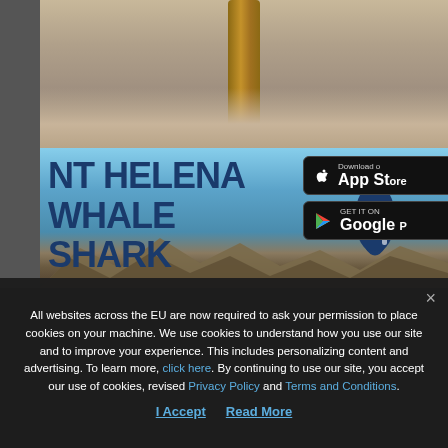[Figure (photo): Top portion showing a wooden stick/post against a sandy/cracked ground texture background, partially cropped]
[Figure (screenshot): St Helena Whale Shark banner/advertisement with large dark blue text reading 'NT HELENA WHALE SHARK' (partially cropped on left), a whale shark logo icon, mountainous landscape background with blue sky, and app store download buttons for App Store and Google Play on the right side]
All websites across the EU are now required to ask your permission to place cookies on your machine. We use cookies to understand how you use our site and to improve your experience. This includes personalizing content and advertising. To learn more, click here. By continuing to use our site, you accept our use of cookies, revised Privacy Policy and Terms and Conditions.
I Accept
Read More